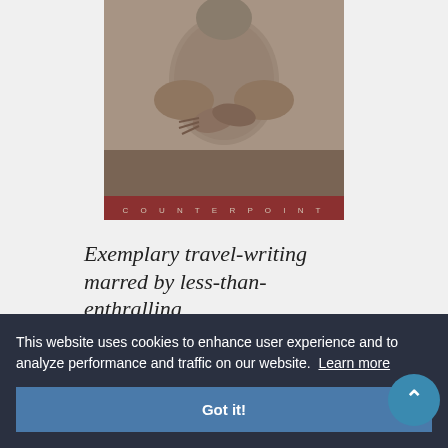[Figure (photo): Book cover showing a clay or stone sculpture of a human figure (torso/upper body) with hands crossed over chest, sepia/brown tones. Bottom of cover has a dark red banner with 'COUNTERPOINT' text in spaced letters.]
Exemplary travel-writing marred by less-than-enthralling
This website uses cookies to enhance user experience and to analyze performance and traffic on our website. Learn more
Got it!